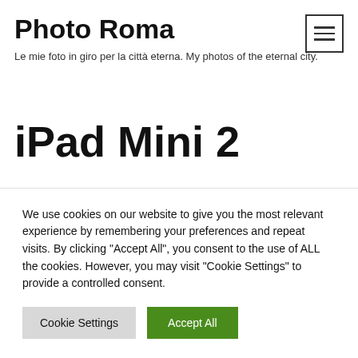Photo Roma
Le mie foto in giro per la città eterna. My photos of the eternal city.
iPad Mini 2
Donna – Women
We use cookies on our website to give you the most relevant experience by remembering your preferences and repeat visits. By clicking "Accept All", you consent to the use of ALL the cookies. However, you may visit "Cookie Settings" to provide a controlled consent.